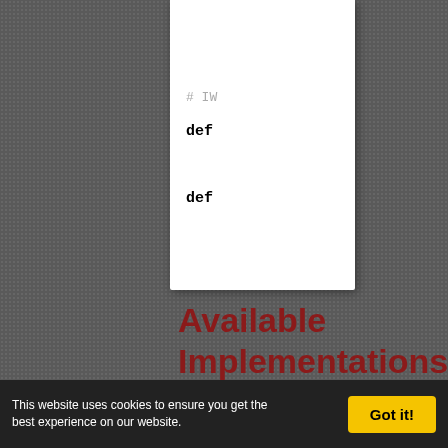[Figure (screenshot): Code snippet showing a comment line starting with '# IW' and two 'def' keyword lines in monospace font on white background]
Available Implementations
SpamFilter:
This website uses cookies to ensure you get the best experience on our website.